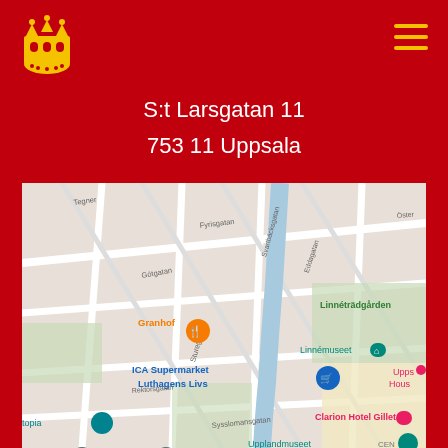[Figure (logo): Uppsala municipality golden crown/building logo on red background]
S:t Larsgatan 11
753 11 Uppsala
[Figure (map): Google Maps screenshot showing Uppsala city area with landmarks including Granhof, ICA Supermarket Luthagens Livs, Linnemuseet, Linneträdgården, Clarion Hotel Gillet, Upplandmuseet, and streets Fyrisgatan, Götgatan, Svartbäcksgatan, Eddagatan, Sturegatan, Rektorsgatan, Sysslomansgatan]